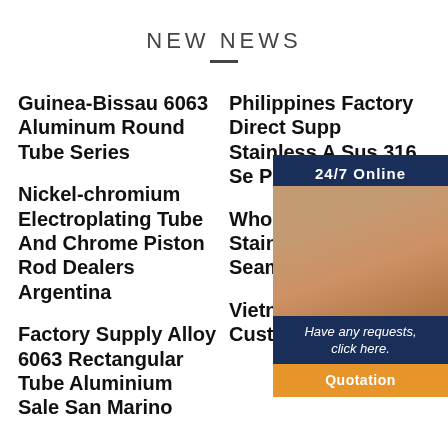NEW NEWS
Guinea-Bissau 6063 Aluminum Round Tube Series
Philippines Factory Direct Supply Stainless A Sus 316 Se Polishing W
Nickel-chromium Electroplating Tube And Chrome Piston Rod Dealers Argentina
Wholesale Size Stainless Aluminum Seamless Polishingq
Factory Supply Alloy 6063 Rectangular Tube Aluminium Sale San Marino
Vietnam Wholesale Custom Size
[Figure (illustration): 24/7 Online customer service widget with woman wearing headset, dark navy background, text 'Have any requests, click here.' and orange Quotation button]